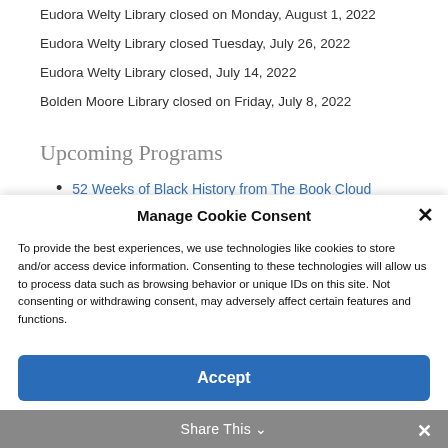Eudora Welty Library closed on Monday, August 1, 2022
Eudora Welty Library closed Tuesday, July 26, 2022
Eudora Welty Library closed, July 14, 2022
Bolden Moore Library closed on Friday, July 8, 2022
Upcoming Programs
52 Weeks of Black History from The Book Cloud
Manage Cookie Consent
To provide the best experiences, we use technologies like cookies to store and/or access device information. Consenting to these technologies will allow us to process data such as browsing behavior or unique IDs on this site. Not consenting or withdrawing consent, may adversely affect certain features and functions.
Accept
Share This